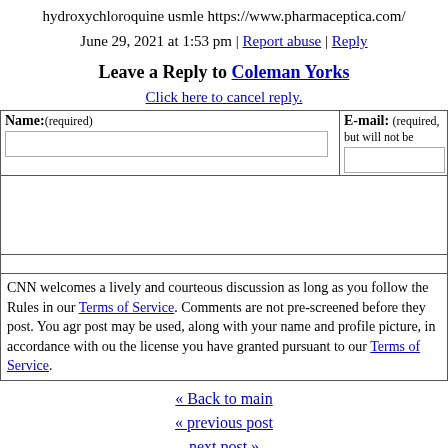hydroxychloroquine usmle https://www.pharmaceptica.com/
June 29, 2021 at 1:53 pm | Report abuse | Reply
Leave a Reply to Coleman Yorks
Click here to cancel reply.
| Name:(required) | E-mail: (required, but will not be |
| --- | --- |
|   |   |
CNN welcomes a lively and courteous discussion as long as you follow the Rules in our Terms of Service. Comments are not pre-screened before they post. You agr post may be used, along with your name and profile picture, in accordance with ou the license you have granted pursuant to our Terms of Service.
« Back to main
« previous post
next post »